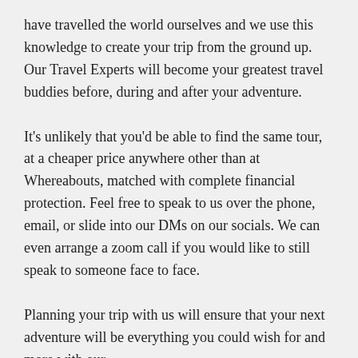have travelled the world ourselves and we use this knowledge to create your trip from the ground up. Our Travel Experts will become your greatest travel buddies before, during and after your adventure.
It's unlikely that you'd be able to find the same tour, at a cheaper price anywhere other than at Whereabouts, matched with complete financial protection. Feel free to speak to us over the phone, email, or slide into our DMs on our socials. We can even arrange a zoom call if you would like to still speak to someone face to face.
Planning your trip with us will ensure that your next adventure will be everything you could wish for and more with our